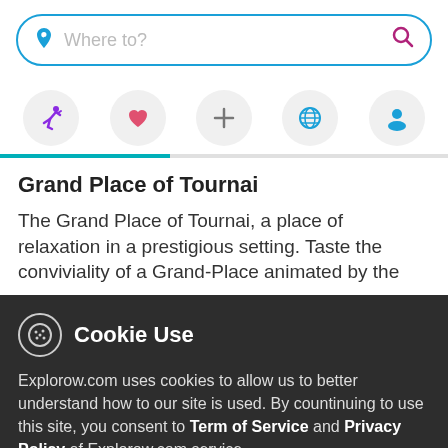[Figure (screenshot): Search bar with 'Where to?' placeholder, blue border, location pin icon and pink search icon]
[Figure (infographic): Navigation icon row: running person (purple), heart (pink), plus (+), globe (blue), person/profile (blue) — all in light gray circles]
Grand Place of Tournai
The Grand Place of Tournai, a place of relaxation in a prestigious setting. Taste the conviviality of a Grand-Place animated by the
Cookie Use
Explorow.com uses cookies to allow us to better understand how to our site is used. By countinuing to use this site, you consent to Term of Service and Privacy Policy of Explorow.com service.
More info | Accept all